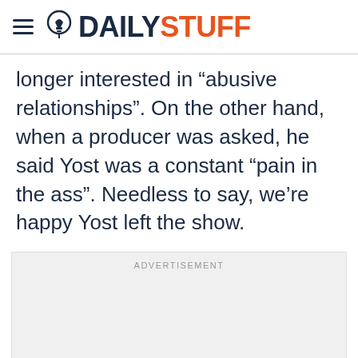DAILYSTUFF
longer interested in “abusive relationships”. On the other hand, when a producer was asked, he said Yost was a constant “pain in the ass”. Needless to say, we’re happy Yost left the show.
[Figure (other): Advertisement placeholder box with ADVERTISEMENT label]